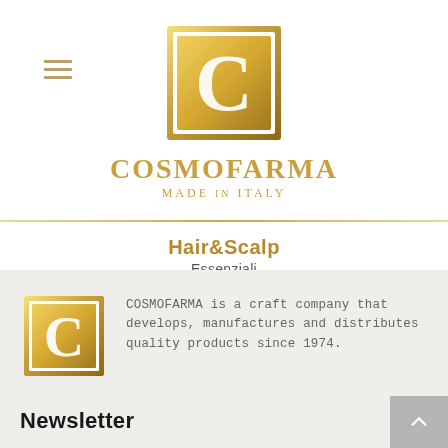[Figure (logo): Cosmofarma Made in Italy logo: gold square border with large gold C letter inside, gradient gold fill. Below: COSMOFARMA in gold serif uppercase, MADE IN ITALY in smaller gold uppercase spaced letters.]
Hair&Scalp
Essenziali
[Figure (logo): Small Cosmofarma logo: gold square with gold C, gradient fill.]
COSMOFARMA is a craft company that develops, manufactures and distributes quality products since 1974.
Newsletter